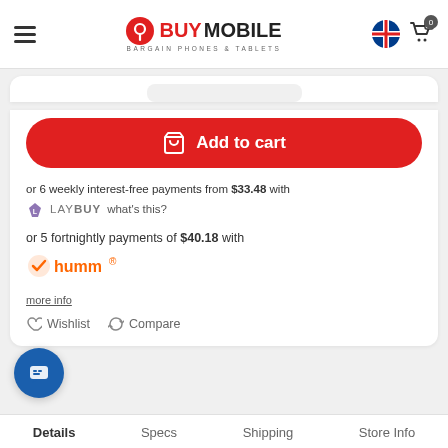BuyMobile - Bargain Phones & Tablets
[Figure (screenshot): Partial product image stub at top of card]
Add to cart
or 6 weekly interest-free payments from $33.48 with LAYBUY what's this?
or 5 fortnightly payments of $40.18 with humm
more info
Wishlist  Compare
Details  Specs  Shipping  Store Info